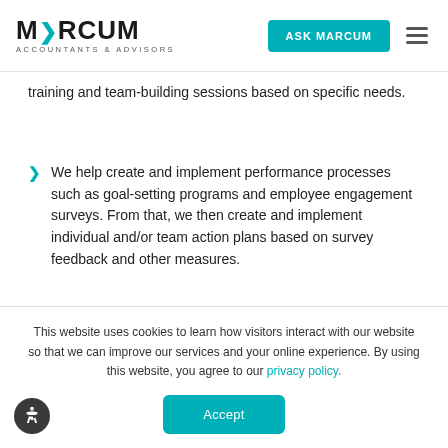MARCUM ACCOUNTANTS & ADVISORS | ASK MARCUM
training and team-building sessions based on specific needs.
We help create and implement performance processes such as goal-setting programs and employee engagement surveys. From that, we then create and implement individual and/or team action plans based on survey feedback and other measures.
In the end, the benefits of this work to a business are clear:
This website uses cookies to learn how visitors interact with our website so that we can improve our services and your online experience. By using this website, you agree to our privacy policy.